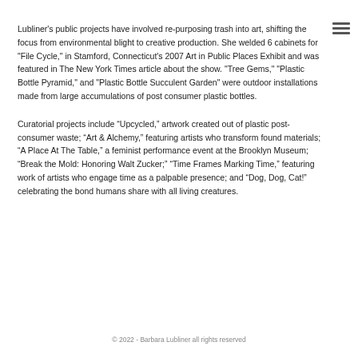Lubliner's public projects have involved re-purposing trash into art, shifting the focus from environmental blight to creative production. She welded 6 cabinets for "File Cycle," in Stamford, Connecticut's 2007 Art in Public Places Exhibit and was featured in The New York Times article about the show. "Tree Gems," "Plastic Bottle Pyramid," and "Plastic Bottle Succulent Garden" were outdoor installations made from large accumulations of post consumer plastic bottles.
Curatorial projects include “Upcycled,” artwork created out of plastic post-consumer waste; “Art & Alchemy,” featuring artists who transform found materials; “A Place At The Table,” a feminist performance event at the Brooklyn Museum; “Break the Mold: Honoring Walt Zucker;” “Time Frames Marking Time,” featuring work of artists who engage time as a palpable presence; and “Dog, Dog, Cat!” celebrating the bond humans share with all living creatures.
© 2022 - Barbara Lubliner all rights reserved